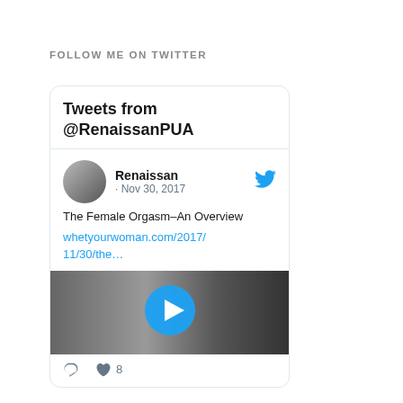FOLLOW ME ON TWITTER
Tweets from @RenaissanPUA
[Figure (screenshot): Twitter widget showing a tweet by Renaissan dated Nov 30, 2017 about 'The Female Orgasm–An Overview' with a link to whetyourwoman.com/2017/11/30/the... and a video thumbnail with play button. Shows 8 likes.]